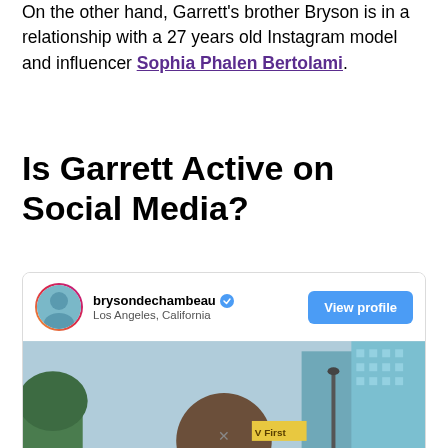On the other hand, Garrett's brother Bryson is in a relationship with a 27 years old Instagram model and influencer Sophia Phalen Bertolami.
Is Garrett Active on Social Media?
[Figure (screenshot): Instagram profile card for brysondechambeau showing username with verified badge, location 'Los Angeles, California', a 'View profile' button, and a partial photo of a person in an urban setting.]